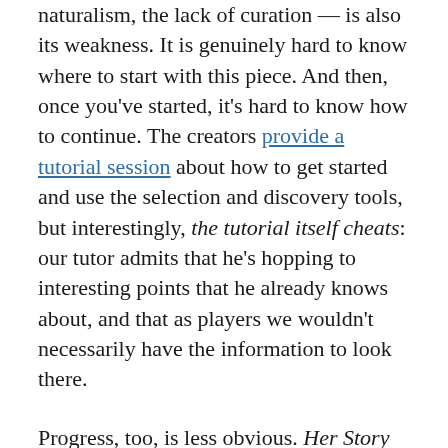naturalism, the lack of curation — is also its weakness. It is genuinely hard to know where to start with this piece. And then, once you've started, it's hard to know how to continue. The creators provide a tutorial session about how to get started and use the selection and discovery tools, but interestingly, the tutorial itself cheats: our tutor admits that he's hopping to interesting points that he already knows about, and that as players we wouldn't necessarily have the information to look there.
Progress, too, is less obvious. Her Story provides the gratification of a completion diagram that fills in as you go: the mechanism is silly and anti-mimetic but it performs an